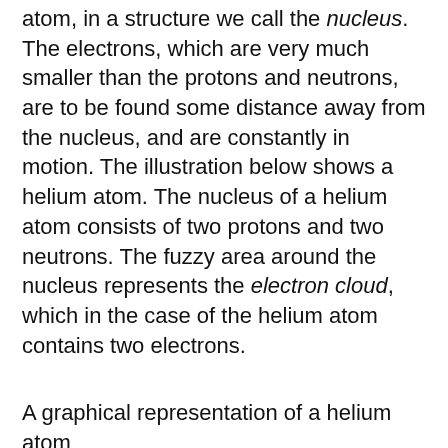atom, in a structure we call the nucleus. The electrons, which are very much smaller than the protons and neutrons, are to be found some distance away from the nucleus, and are constantly in motion. The illustration below shows a helium atom. The nucleus of a helium atom consists of two protons and two neutrons. The fuzzy area around the nucleus represents the electron cloud, which in the case of the helium atom contains two electrons.
A graphical representation of a helium atom
We sometimes talk about electrons "orbiting" the nucleus in the same way that the planets in the solar system orbit the Sun, but this is an over simplification. The path of an electron is pretty unpredictable, and the electrons move incredibly fast - close to the speed of light, in fact. In truth